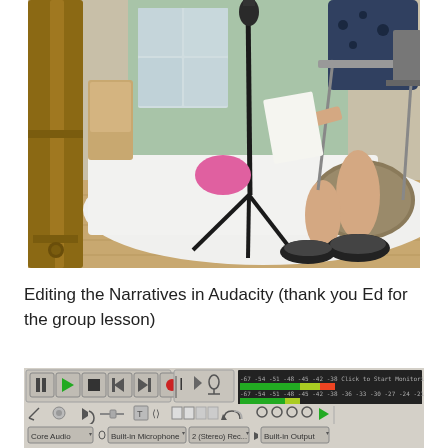[Figure (photo): Indoor recording setup showing a microphone stand in the foreground, a person seated on a folding chair with bare feet, a bed covered with white sheets, hardwood floor, decorative pillows, shoes on the floor, and furniture in a room with green curtains and windows in the background.]
Editing the Narratives in Audacity (thank you Ed for the group lesson)
[Figure (screenshot): Screenshot of Audacity audio editing software showing the toolbar with transport controls (pause, play, stop, skip, record buttons), mixer controls, audio tracks with waveforms, and the Core Audio device selector showing Built-in Microphone and Built-in Output.]